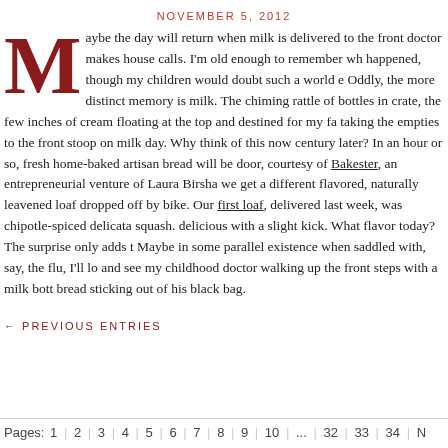NOVEMBER 5, 2012
Maybe the day will return when milk is delivered to the front door and the doctor makes house calls. I'm old enough to remember when both happened, though my children would doubt such a world ever existed. Oddly, the more distinct memory is milk. The chiming rattle of bottles in the crate, the few inches of cream floating at the top and destined for my father, taking the empties to the front stoop on milk day. Why think of this now, half a century later? In an hour or so, fresh home-baked artisan bread will be at our door, courtesy of Bakester, an entrepreneurial venture of Laura Birshan, where we get a different flavored, naturally leavened loaf dropped off by bike. Our first loaf, delivered last week, was chipotle-spiced delicata squash. Delicious with a slight kick. What flavor today? The surprise only adds to it. Maybe in some parallel existence when saddled with, say, the flu, I'll look out and see my childhood doctor walking up the front steps with a milk bottle and bread sticking out of his black bag.
← PREVIOUS ENTRIES
Pages: 1 | 2 | 3 | 4 | 5 | 6 | 7 | 8 | 9 | 10 | ... | 32 | 33 | 34 | N